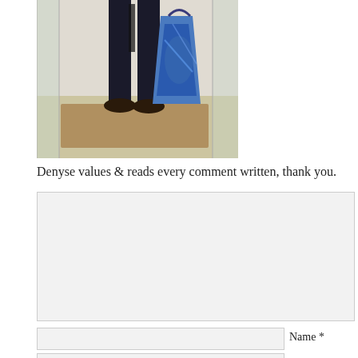[Figure (photo): Photo of a person from waist down standing on a rug near glass doors, holding a large blue shopping bag]
Denyse values & reads every comment written, thank you.
[Figure (screenshot): Comment text area input box (empty, gray background)]
Name *
[Figure (screenshot): Name input field (empty, gray background)]
[Figure (screenshot): Email input field (empty, gray background)]